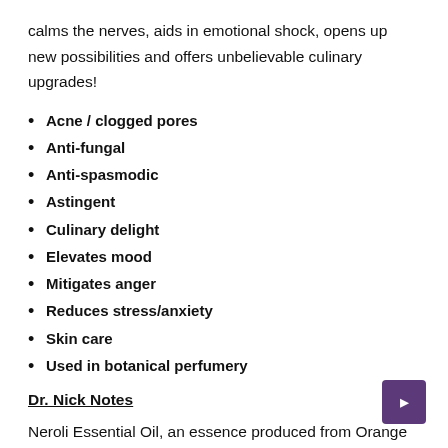calms the nerves, aids in emotional shock, opens up new possibilities and offers unbelievable culinary upgrades!
Acne / clogged pores
Anti-fungal
Anti-spasmodic
Astingent
Culinary delight
Elevates mood
Mitigates anger
Reduces stress/anxiety
Skin care
Used in botanical perfumery
Dr. Nick Notes
Neroli Essential Oil, an essence produced from Orange Blossom Flowers, creates a truly exotic experience